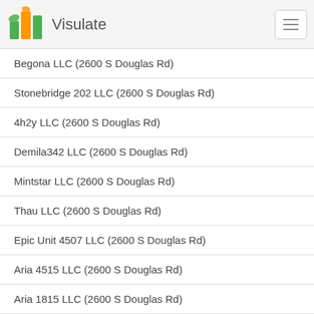Visulate
Begona LLC (2600 S Douglas Rd)
Stonebridge 202 LLC (2600 S Douglas Rd)
4h2y LLC (2600 S Douglas Rd)
Demila342 LLC (2600 S Douglas Rd)
Mintstar LLC (2600 S Douglas Rd)
Thau LLC (2600 S Douglas Rd)
Epic Unit 4507 LLC (2600 S Douglas Rd)
Aria 4515 LLC (2600 S Douglas Rd)
Aria 1815 LLC (2600 S Douglas Rd)
Aria 4512 LLC (2600 S Douglas Rd)